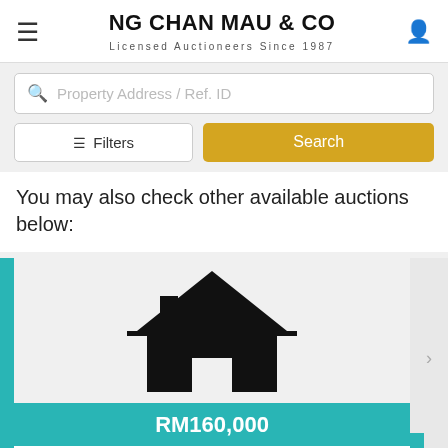NG CHAN MAU & CO — Licensed Auctioneers Since 1987
Property Address / Ref. ID
Filters
Search
You may also check other available auctions below:
[Figure (illustration): House icon silhouette in black on light grey background]
RM160,000
No. 19, Jalan 2/7, Taman Bukit Rawang, Jaya